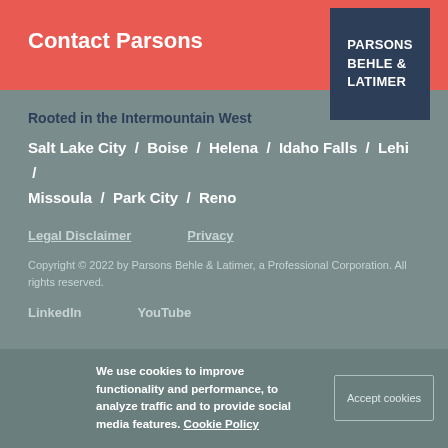Contact Parsons
[Figure (logo): Parsons Behle & Latimer law firm logo — white text on dark navy blue background]
Rooted in the Intermountain West
Salt Lake City  /  Boise  /  Helena  /  Idaho Falls  /  Lehi  /  Missoula  /  Park City  /  Reno
Legal Disclaimer      Privacy
Copyright © 2022 by Parsons Behle & Latimer, a Professional Corporation. All rights reserved.
LinkedIn      YouTube
We use cookies to improve functionality and performance, to analyze traffic and to provide social media features. Cookie Policy
Accept cookies